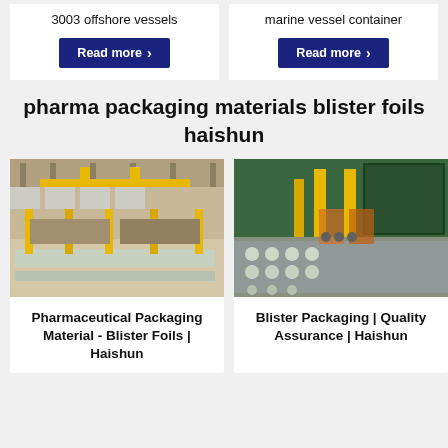3003 offshore vessels
Read more
marine vessel container
Read more
pharma packaging materials blister foils haishun
[Figure (photo): Industrial factory floor with large machinery and metal sheets, yellow crane structures visible]
[Figure (photo): Industrial manufacturing line with green machinery and yellow conveyor, blister packaging visible]
Pharmaceutical Packaging Material - Blister Foils | Haishun
Blister Packaging | Quality Assurance | Haishun